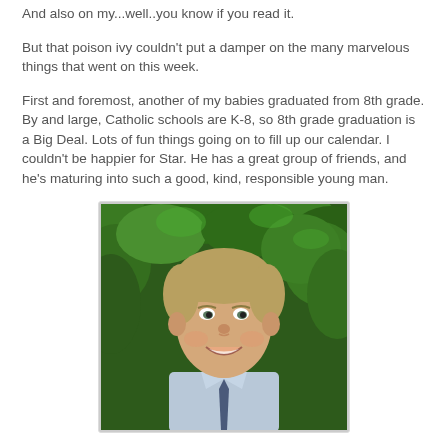And also on my...well..you know if you read it.
But that poison ivy couldn't put a damper on the many marvelous things that went on this week.
First and foremost, another of my babies graduated from 8th grade. By and large, Catholic schools are K-8, so 8th grade graduation is a Big Deal. Lots of fun things going on to fill up our calendar. I couldn't be happier for Star. He has a great group of friends, and he's maturing into such a good, kind, responsible young man.
[Figure (photo): Photo of a smiling teenage boy with short blond hair wearing a light blue dress shirt and tie, with green foliage in the background.]